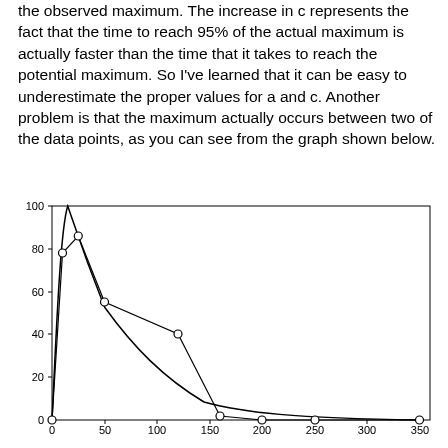the observed maximum. The increase in c represents the fact that the time to reach 95% of the actual maximum is actually faster than the time that it takes to reach the potential maximum. So I've learned that it can be easy to underestimate the proper values for a and c. Another problem is that the maximum actually occurs between two of the data points, as you can see from the graph shown below.
[Figure (continuous-plot): A line chart showing two curves over x range 0–360 and y range 0–100. One curve is a smooth fitted curve that rises sharply from near 0 at x=0 to a peak near 100 around x=15, then declines gradually approaching 0 by x=350. The other curve (dashed/thin) connects observed data points (circles): (0,0), (10,78), (25,86), (50,55), (120,40), (160,2), (200,0), (250,0), (350,0). The smooth curve passes above the data points near the peak.]